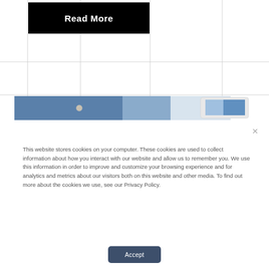[Figure (screenshot): Read More button (black background, white bold text) in upper-left area with grid lines below it and a photo strip of a tablet/monitor device partially visible]
This website stores cookies on your computer. These cookies are used to collect information about how you interact with our website and allow us to remember you. We use this information in order to improve and customize your browsing experience and for analytics and metrics about our visitors both on this website and other media. To find out more about the cookies we use, see our Privacy Policy.
Accept